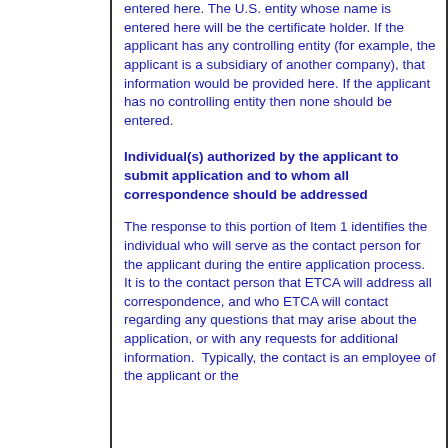entered here. The U.S. entity whose name is entered here will be the certificate holder. If the applicant has any controlling entity (for example, the applicant is a subsidiary of another company), that information would be provided here. If the applicant has no controlling entity then none should be entered.
Individual(s) authorized by the applicant to submit application and to whom all correspondence should be addressed
The response to this portion of Item 1 identifies the individual who will serve as the contact person for the applicant during the entire application process. It is to the contact person that ETCA will address all correspondence, and who ETCA will contact regarding any questions that may arise about the application, or with any requests for additional information.  Typically, the contact is an employee of the applicant or the